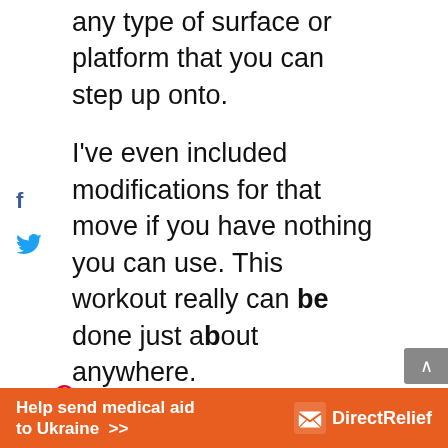any type of surface or platform that you can step up onto.
I've even included modifications for that move if you have nothing you can use. This workout really can be done just about anywhere.
To do this workout, you will perform 3 circuits covering your arms, abs, and legs. Each circuit has 4 different exercises. Complete each circuit 2 times before you move on
[Figure (other): Advertisement banner: orange background with text 'Help send medical aid to Ukraine >>' and Direct Relief logo on the right]